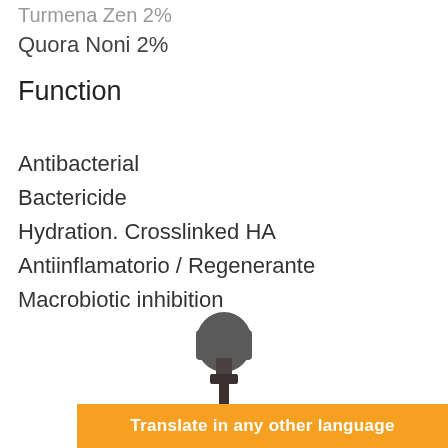Turmena Zen 2%
Quora Noni 2%
Function
Antibacterial
Bactericide
Hydration. Crosslinked HA
Antiinflamatorio / Regenerante
Macrobiotic inhibition
[Figure (photo): Dropper bottle top (bulb and stem) visible against white background]
Translate in any other language